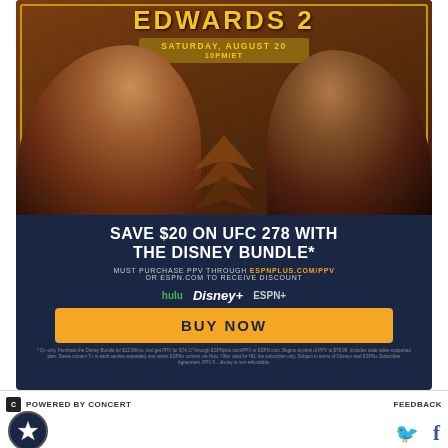[Figure (photo): UFC 278 advertisement showing two fighters facing off (Usman vs Edwards 2) with event details, Disney Bundle discount offer, and Buy Now button on a dark navy background]
POWERED BY CONCERT   FEEDBACK
[Figure (logo): SB Nation star logo circle and social media icons (Twitter and Facebook)]